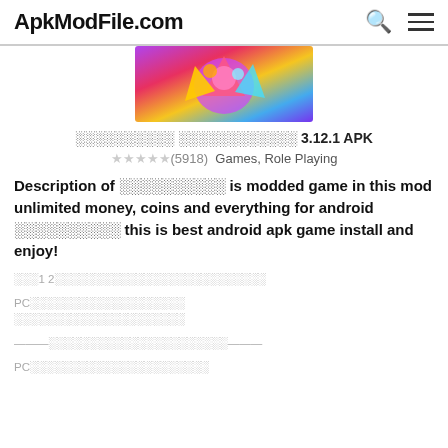ApkModFile.com
[Figure (illustration): Colorful animated game character illustration with purple, red, yellow and blue colors]
░░░░░░░░░░ ░░░░░░░░░░░░ 3.12.1 APK
☆☆☆☆☆ (5918)  Games, Role Playing
Description of ░░░░░░░░░░ is modded game in this mod unlimited money, coins and everything for android ░░░░░░░░░░ this is best android apk game install and enjoy!
░░░1 2░░░░░░░░░░░░░░░░░░░░░░░░░░
PC░░░░░░░░░░░░░░░░░░░
░░░░░░░░░░░░░░░░░░░░░
———░░░░░░░░░░░░░░░░░░░░░░———
PC░░░░░░░░░░░░░░░░░░░░░░